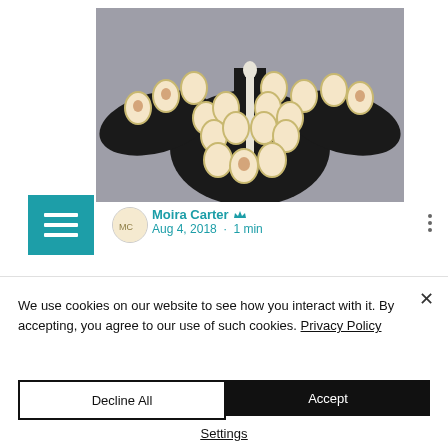[Figure (photo): A dark knitted or woven garment/jacket laid flat, decorated with multiple oval portrait medallions showing human faces, displayed against a gray background.]
Moira Carter  Aug 4, 2018 · 1 min
We use cookies on our website to see how you interact with it. By accepting, you agree to our use of such cookies. Privacy Policy
Decline All
Accept
Settings